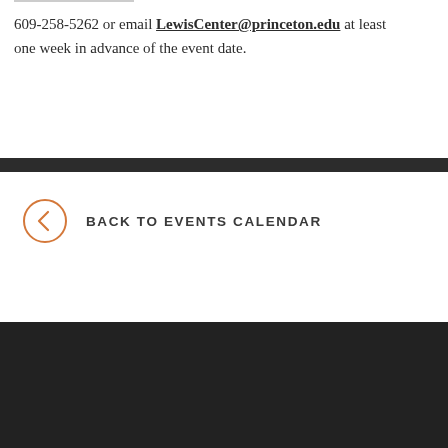609-258-5262 or email LewisCenter@princeton.edu at least one week in advance of the event date.
BACK TO EVENTS CALENDAR
[Figure (other): Dark footer bar at bottom of page]